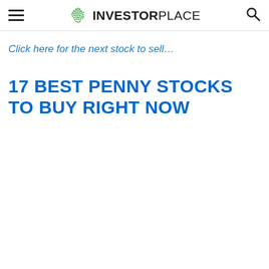INVESTORPLACE
Click here for the next stock to sell…
17 BEST PENNY STOCKS TO BUY RIGHT NOW